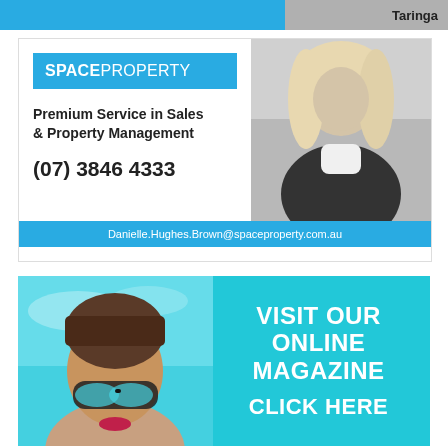[Figure (other): Top banner strip: blue left section and right section showing 'Taringa' text with photo]
[Figure (other): Space Property real estate advertisement with logo, tagline 'Premium Service in Sales & Property Management', phone number (07) 3846 4333, agent photo, and email Danielle.Hughes.Brown@spaceproperty.com.au]
[Figure (other): Online magazine promotional banner with woman wearing sunglasses on teal/turquoise background, text: VISIT OUR ONLINE MAGAZINE CLICK HERE]